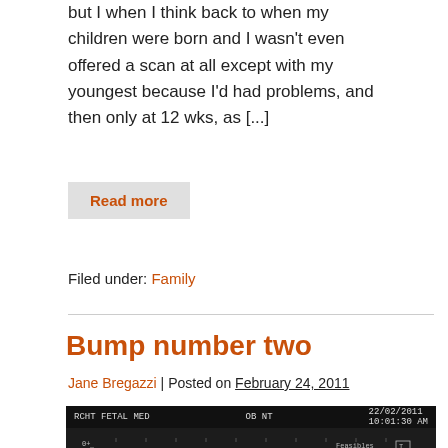but I when I think back to when my children were born and I wasn't even offered a scan at all except with my youngest because I'd had problems, and then only at 12 wks, as [...]
Read more
Filed under: Family
Bump number two
Jane Bregazzi | Posted on February 24, 2011
[Figure (photo): Ultrasound scan image with header text: RCHT FETAL MED, OB NT, date 22/02/2011, time 10:01:30 AM. Shows fetal ultrasound with scale markers on left (0, 2) and measurement labels.]